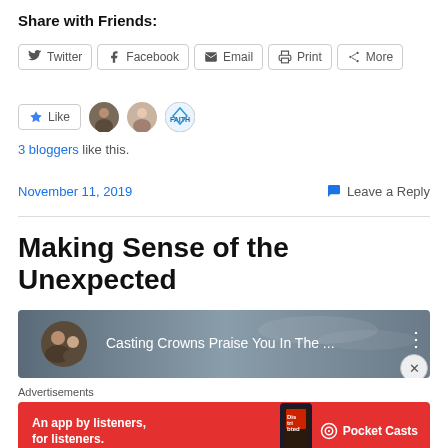Share with Friends:
[Figure (screenshot): Social share buttons: Twitter, Facebook, Email, Print, More]
[Figure (screenshot): Like button with star icon and 3 blogger avatars]
3 bloggers like this.
November 11, 2019    Leave a Reply
Making Sense of the Unexpected
[Figure (screenshot): Podcast player bar showing Casting Crowns Praise You In The ...]
Advertisements
[Figure (screenshot): Pocket Casts advertisement banner: An app by listeners, for listeners.]